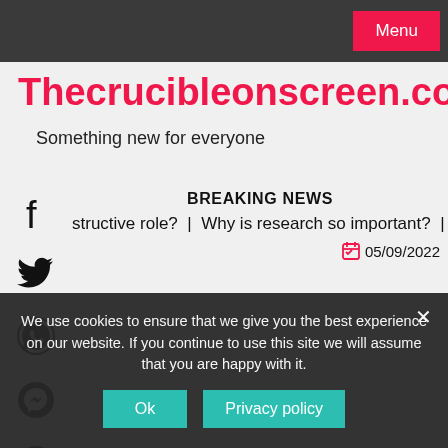Menu
Thecrucibleonscreen.com
Something new for everyone
BREAKING NEWS
structive role?  |  Why is research so important?  |  Did Achill…
05/09/2022
We use cookies to ensure that we give you the best experience on our website. If you continue to use this site we will assume that you are happy with it.